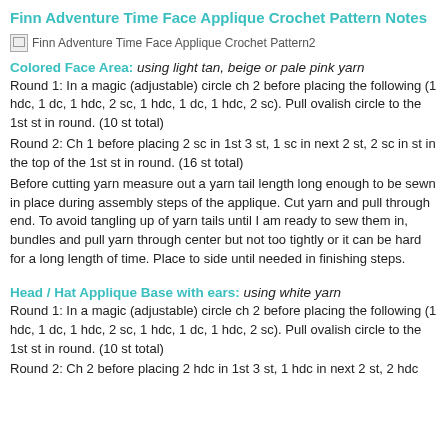Finn Adventure Time Face Applique Crochet Pattern Notes
[Figure (photo): Broken image placeholder for Finn Adventure Time Face Applique Crochet Pattern2]
Colored Face Area: using light tan, beige or pale pink yarn
Round 1: In a magic (adjustable) circle ch 2 before placing the following (1 hdc, 1 dc, 1 hdc, 2 sc, 1 hdc, 1 dc, 1 hdc, 2 sc). Pull ovalish circle to the 1st st in round. (10 st total)
Round 2: Ch 1 before placing 2 sc in 1st 3 st, 1 sc in next 2 st, 2 sc in st in the top of the 1st st in round. (16 st total)
Before cutting yarn measure out a yarn tail length long enough to be sewn in place during assembly steps of the applique. Cut yarn and pull through end. To avoid tangling up of yarn tails until I am ready to sew them in, bundles and pull yarn through center but not too tightly or it can be hard for a long length of time. Place to side until needed in finishing steps.
Head / Hat Applique Base with ears: using white yarn
Round 1: In a magic (adjustable) circle ch 2 before placing the following (1 hdc, 1 dc, 1 hdc, 2 sc, 1 hdc, 1 dc, 1 hdc, 2 sc). Pull ovalish circle to the 1st st in round. (10 st total)
Round 2: Ch 2 before placing 2 hdc in 1st 3 st, 1 hdc in next 2 st, 2 hdc